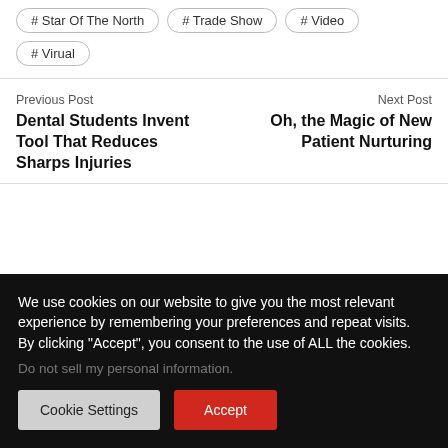# Star Of The North
# Trade Show
# Video
# Virual
Previous Post
Dental Students Invent Tool That Reduces Sharps Injuries
Next Post
Oh, the Magic of New Patient Nurturing
We use cookies on our website to give you the most relevant experience by remembering your preferences and repeat visits. By clicking “Accept”, you consent to the use of ALL the cookies.
Do not sell my personal information.
Cookie Settings
Accept